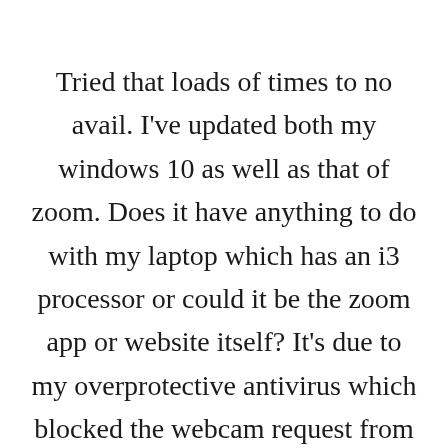Tried that loads of times to no avail. I've updated both my windows 10 as well as that of zoom. Does it have anything to do with my laptop which has an i3 processor or could it be the zoom app or website itself? It's due to my overprotective antivirus which blocked the webcam request from Chrome. Once I disabled it, I was able to use it for zoom. When it's not in use, I enable the protection